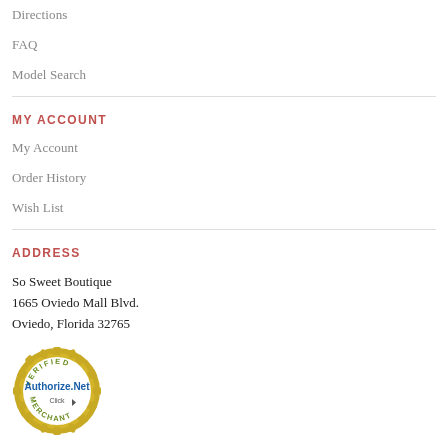Directions
FAQ
Model Search
MY ACCOUNT
My Account
Order History
Wish List
ADDRESS
So Sweet Boutique
1665 Oviedo Mall Blvd.
Oviedo, Florida 32765
[Figure (logo): Authorize.Net Verified Merchant seal/badge with gold gear border, blue Authorize.Net text, and Click arrow]